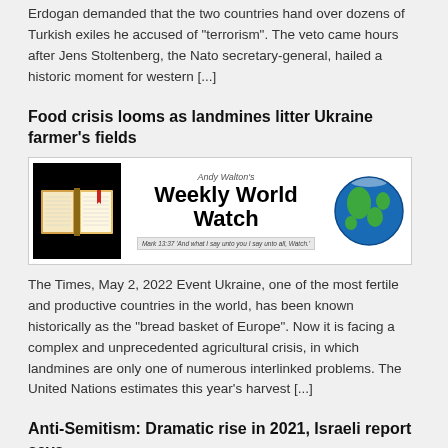Erdogan demanded that the two countries hand over dozens of Turkish exiles he accused of "terrorism". The veto came hours after Jens Stoltenberg, the Nato secretary-general, hailed a historic moment for western [...]
Food crisis looms as landmines litter Ukraine farmer's fields
[Figure (illustration): Andy Walton's Weekly World Watch newsletter banner with an open Bible on the left, globe on the right, and the text 'Mark 13:37 And what I say unto you I say unto all, Watch.']
The Times, May 2, 2022 Event Ukraine, one of the most fertile and productive countries in the world, has been known historically as the "bread basket of Europe". Now it is facing a complex and unprecedented agricultural crisis, in which landmines are only one of numerous interlinked problems. The United Nations estimates this year's harvest [...]
Anti-Semitism: Dramatic rise in 2021, Israeli report says